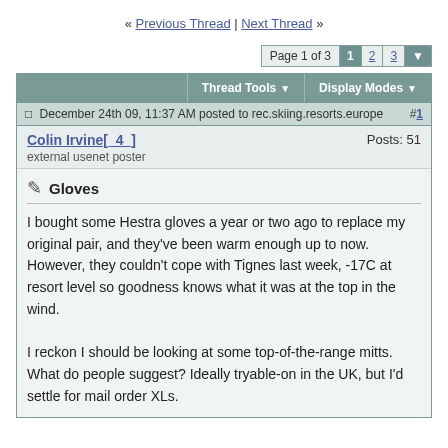« Previous Thread | Next Thread »
Page 1 of 3  1  2  3
Thread Tools ▼   Display Modes ▼
December 24th 09, 11:37 AM posted to rec.skiing.resorts.europe  #1
Colin Irvine[_4_]   Posts: 51
external usenet poster
Gloves
I bought some Hestra gloves a year or two ago to replace my original pair, and they've been warm enough up to now. However, they couldn't cope with Tignes last week, -17C at resort level so goodness knows what it was at the top in the wind.

I reckon I should be looking at some top-of-the-range mitts. What do people suggest? Ideally tryable-on in the UK, but I'd settle for mail order XLs.